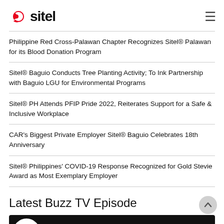Sitel logo and navigation
Philippine Red Cross-Palawan Chapter Recognizes Sitel® Palawan for its Blood Donation Program
Sitel® Baguio Conducts Tree Planting Activity; To Ink Partnership with Baguio LGU for Environmental Programs
Sitel® PH Attends PFIP Pride 2022, Reiterates Support for a Safe & Inclusive Workplace
CAR's Biggest Private Employer Sitel® Baguio Celebrates 18th Anniversary
Sitel® Philippines' COVID-19 Response Recognized for Gold Stevie Award as Most Exemplary Employer
Latest Buzz TV Episode
[Figure (screenshot): Sitel Group Buzz TV Episode 11 video thumbnail with title 'Buzz TV Episode 11: What's in the ...' on a dark background with Sitel group logo]